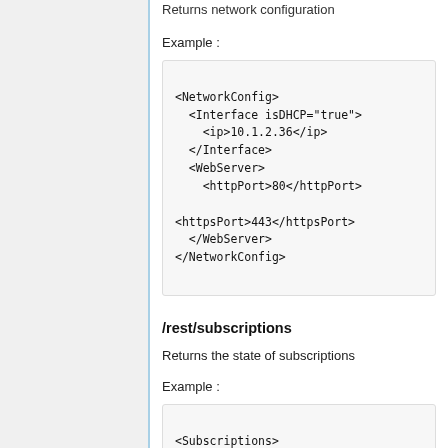Returns network configuration
Example :
<NetworkConfig>
  <Interface isDHCP="true">
    <ip>10.1.2.36</ip>
  </Interface>
  <WebServer>
    <httpPort>80</httpPort>

<httpsPort>443</httpsPort>
  </WebServer>
</NetworkConfig>
/rest/subscriptions
Returns the state of subscriptions
Example :
<Subscriptions>